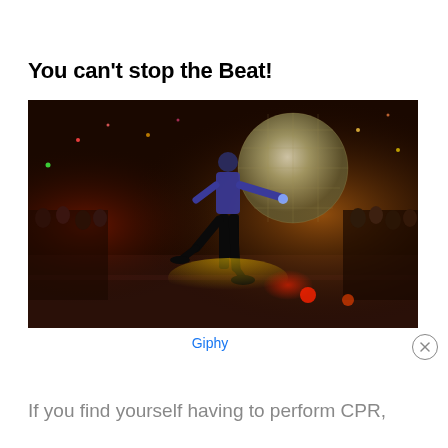You can't stop the Beat!
[Figure (photo): A dancer performing on a disco dance floor with a large mirror ball and colorful lights, crowd watching in the background. Scene resembles Saturday Night Fever.]
Giphy
If you find yourself having to perform CPR,